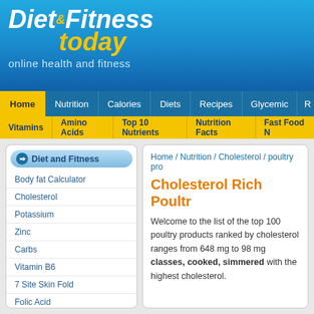Diet & Fitness today — online health and fitness
Home
Nutrition
Calories
Diets
Recipes
Glycemic
Vitamins
Amino Acids
Top 10 Nutrients
Nutrition Facts
Fast Food
Diet and Fitness
Body fat Calculator
Cholesterol
Potassium
Zinc
Carbs
Vitamin B6
7 Site Skin Fold
Folic Acid
Vitamins and Minerals
RDA Calculator
Calories Burned Calculator
Home / Nutrition / Cholesterol / poultry pro
Cholesterol Rich Poultr
Welcome to the list of the top 100 poultry products ranked by cholesterol ranges from 648 mg to 98 mg classes, cooked, simmered with the highest cholesterol.